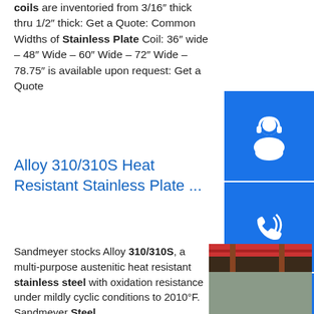coils are inventoried from 3/16" thick thru 1/2" thick: Get a Quote: Common Widths of Stainless Plate Coil: 36" wide – 48" Wide – 60" Wide – 72" Wide – 78.75" is available upon request: Get a Quote
[Figure (other): Blue square icon with white customer service / headset agent silhouette]
[Figure (other): Blue square icon with white telephone handset]
[Figure (other): Blue square icon with white Skype logo]
Alloy 310/310S Heat Resistant Stainless Plate ...
Sandmeyer stocks Alloy 310/310S, a multi-purpose austenitic heat resistant stainless steel with oxidation resistance under mildly cyclic conditions to 2010°F. Sandmeyer Steel Company stocks Alloy 310/310S, a multi-purpose austenitic heat resistant stainless steel with oxidation resistance under mildly cyclic conditions to 2010°F.sp.info Stainless Steel 310 Sheet, SS 310S Plate and Coil supplier ...ASTM A240 310/310S Stainless Steel Sheet,
[Figure (photo): Photo of stacked stainless steel plates in an industrial warehouse/factory setting with red crane beams visible above]